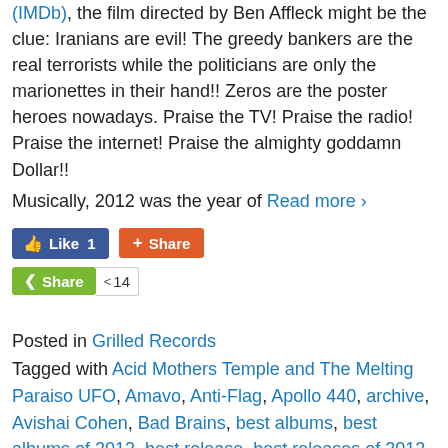(IMDb), the film directed by Ben Affleck might be the clue: Iranians are evil! The greedy bankers are the real terrorists while the politicians are only the marionettes in their hand!! Zeros are the poster heroes nowadays. Praise the TV! Praise the radio! Praise the internet! Praise the almighty goddamn Dollar!!
Musically, 2012 was the year of Read more ›
[Figure (infographic): Social sharing buttons: Facebook Like 1, Share (orange), and green Share button with count 14]
Posted in Grilled Records
Tagged with Acid Mothers Temple and The Melting Paraiso UFO, Amavo, Anti-Flag, Apollo 440, archive, Avishai Cohen, Bad Brains, best albums, best albums of 2012, best release, best releases of 2012, Between the Buried and Me, Black Light Burns, Brad Mehldau Trio, Byzant At Sunset, Celldweller, Converge, DaCast, Dead Can Dance, Enslaved, Eric Burdon, Fear, Fear Factory, Figure, Future of the Left, Garbage, Get The Blessing, Gli Putridissimi, Gliding Soul, Good Morning Bleeding City, History of the Hawk, How To Destroy Angels, Hypno5e, Ihsahn, Illogistical Resource Dept., Jack White, Jah